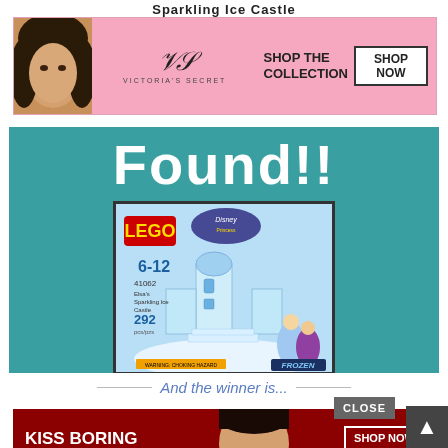Sparkling Ice Castle
[Figure (photo): Victoria's Secret advertisement banner with a woman's face, VS logo, 'SHOP THE COLLECTION' text, and a 'SHOP NOW' button on a pink background]
[Figure (photo): Teal background image block with large white 'Found!!' text and a LEGO Disney Frozen Elsa's Sparkling Ice Castle (set 41062) product box photo showing the castle, Anna, Elsa, ages 6-12, 292 pieces]
And the winner is...
[Figure (photo): Macy's advertisement banner with dark red background, 'KISS BORING LIPS GOODBYE' text, woman's face with red lipstick, 'SHOP NOW' button, and Macy's star logo]
[Figure (other): Dark grey scroll-to-top arrow button]